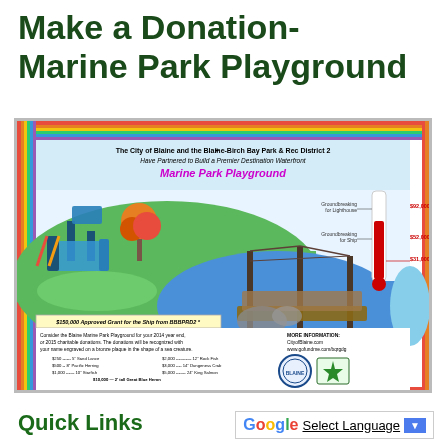Make a Donation- Marine Park Playground
[Figure (illustration): Promotional poster for Marine Park Playground showing a rendered aerial view of a waterfront playground with play structures, a ship-themed structure, green grass, blue water area, a fundraising thermometer showing $92,000 groundbreaking for lighthouse and $52,000 groundbreaking for ship goals at $31,000 current, donation tiers from $250 to $10,000, logos for City of Blaine and Blaine-Birch Bay Park & Rec District 2, and contact information.]
Quick Links
Select Language